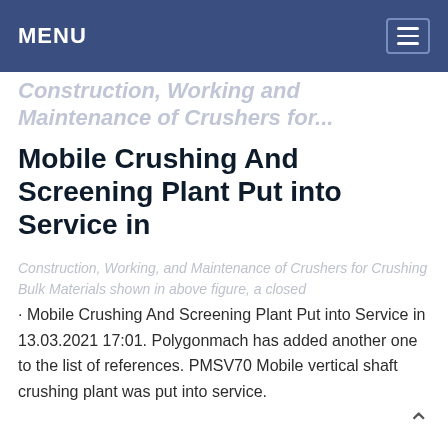MENU
Construction, Working and Maintenance of Crushers for...
Mobile Crushing And Screening Plant Put into Service in
Construction, Working, and Maintenance of Crushers for Crushing Bulk Materials shown in above figure, a closed
· Mobile Crushing And Screening Plant Put into Service in 13.03.2021 17:01. Polygonmach has added another one to the list of references. PMSV70 Mobile vertical shaft crushing plant was put into service.
Learn More